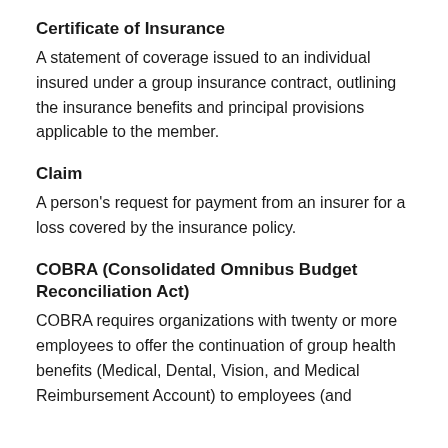Certificate of Insurance
A statement of coverage issued to an individual insured under a group insurance contract, outlining the insurance benefits and principal provisions applicable to the member.
Claim
A person's request for payment from an insurer for a loss covered by the insurance policy.
COBRA (Consolidated Omnibus Budget Reconciliation Act)
COBRA requires organizations with twenty or more employees to offer the continuation of group health benefits (Medical, Dental, Vision, and Medical Reimbursement Account) to employees (and